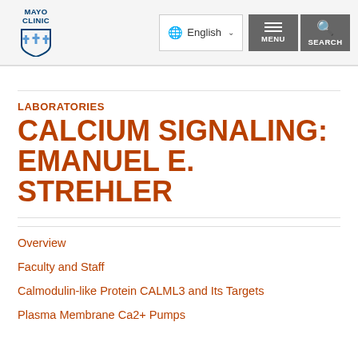[Figure (logo): Mayo Clinic logo with shield emblem and text 'MAYO CLINIC']
LABORATORIES
CALCIUM SIGNALING: EMANUEL E. STREHLER
Overview
Faculty and Staff
Calmodulin-like Protein CALML3 and Its Targets
Plasma Membrane Ca2+ Pumps